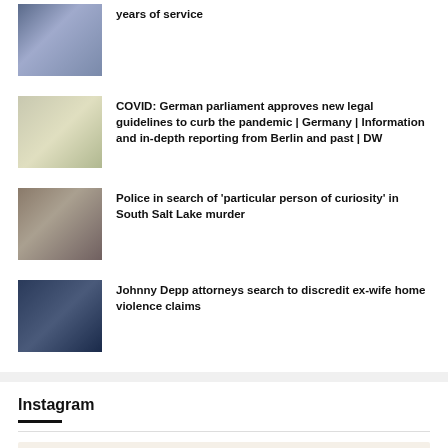years of service
COVID: German parliament approves new legal guidelines to curb the pandemic | Germany | Information and in-depth reporting from Berlin and past | DW
Police in search of 'particular person of curiosity' in South Salt Lake murder
Johnny Depp attorneys search to discredit ex-wife home violence claims
Instagram
Please install/update and activate JNews Instagram plugin.